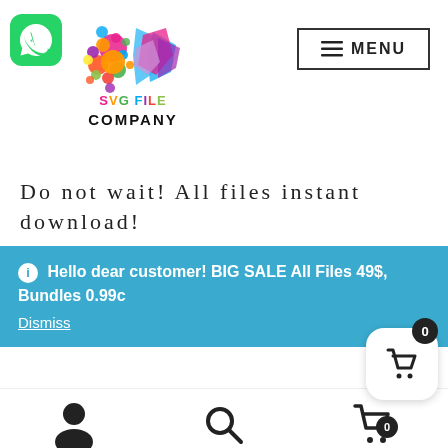[Figure (logo): WhatsApp green icon with white phone symbol]
[Figure (logo): SVG File Company colorful brain/gem logo with text 'SVG FILE COMPANY']
[Figure (illustration): MENU button with hamburger icon, bordered rectangle]
Do not wait! All files instant download!
Hello dear customer! BIG SALE All Files 49$, Bundles 0.99c
Dismiss
[Figure (illustration): Bottom navigation bar with user icon, search icon, cart icon, and floating cart widget with badge 0]